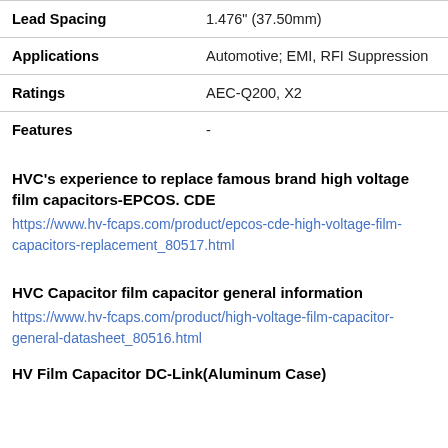| Lead Spacing | 1.476" (37.50mm) |
| Applications | Automotive; EMI, RFI Suppression |
| Ratings | AEC-Q200, X2 |
| Features | - |
HVC's experience to replace famous brand high voltage film capacitors-EPCOS. CDE
https://www.hv-fcaps.com/product/epcos-cde-high-voltage-film-capacitors-replacement_80517.html
HVC Capacitor film capacitor general information
https://www.hv-fcaps.com/product/high-voltage-film-capacitor-general-datasheet_80516.html
HV Film Capacitor DC-Link(Aluminum Case)